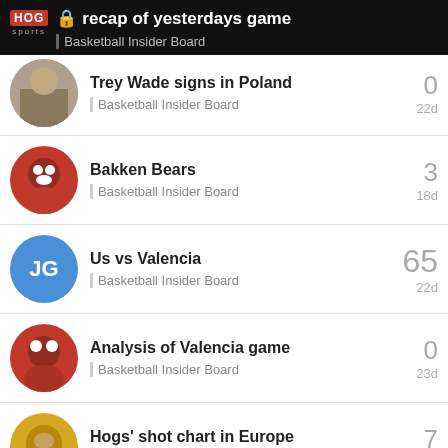recap of yesterdays game — Basketball Insider Board
Trey Wade signs in Poland — Basketball Insider Board — 0 — 22d
Bakken Bears — Basketball Insider Board — 3 — 18d
Us vs Valencia — Basketball Insider Board — 65 — 22d
Analysis of Valencia game — Basketball Insider Board — 0 — 23d
Hogs' shot chart in Europe — Basketball Insider Board — 7 — 12d
Want to read more? Browse other topics in Basketball Insider... or view latest topics.